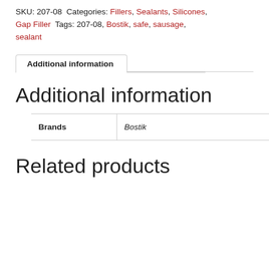SKU: 207-08 Categories: Fillers, Sealants, Silicones, Gap Filler Tags: 207-08, Bostik, safe, sausage, sealant
Additional information
Additional information
| Brands |  |
| --- | --- |
| Brands | Bostik |
Related products